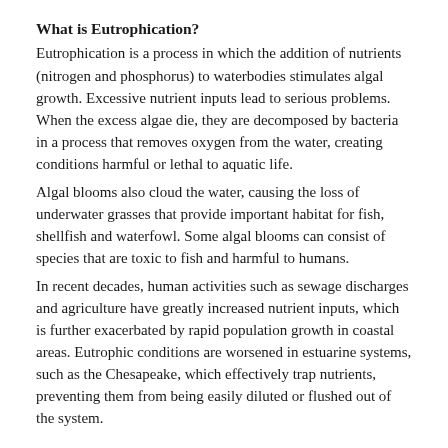What is Eutrophication?
Eutrophication is a process in which the addition of nutrients (nitrogen and phosphorus) to waterbodies stimulates algal growth. Excessive nutrient inputs lead to serious problems. When the excess algae die, they are decomposed by bacteria in a process that removes oxygen from the water, creating conditions harmful or lethal to aquatic life.
Algal blooms also cloud the water, causing the loss of underwater grasses that provide important habitat for fish, shellfish and waterfowl. Some algal blooms can consist of species that are toxic to fish and harmful to humans.
In recent decades, human activities such as sewage discharges and agriculture have greatly increased nutrient inputs, which is further exacerbated by rapid population growth in coastal areas. Eutrophic conditions are worsened in estuarine systems, such as the Chesapeake, which effectively trap nutrients, preventing them from being easily diluted or flushed out of the system.
Low-oxygen conditions affecting coasts around the world
Nutrient pollution is leading to increasing numbers of coastal areas suffering from low-oxygen conditions worldwide, a trend likely to take an increasing toll on coastal ecosystems, according to a Virginia Institute of Marine Science researcher.